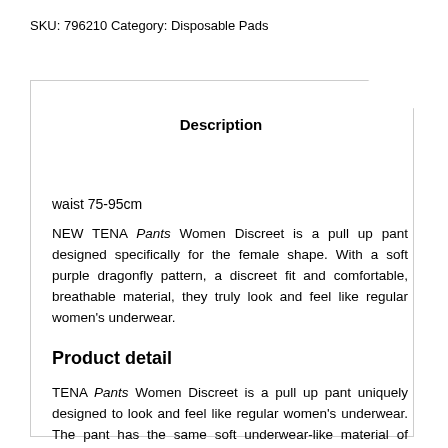SKU: 796210 Category: Disposable Pads
Description
waist 75-95cm
NEW TENA Pants Women Discreet is a pull up pant designed specifically for the female shape. With a soft purple dragonfly pattern, a discreet fit and comfortable, breathable material, they truly look and feel like regular women's underwear.
Product detail
TENA Pants Women Discreet is a pull up pant uniquely designed to look and feel like regular women's underwear. The pant has the same soft underwear-like material of TENA Pants Discreet, with a discreet fit, lower waist line, and soft